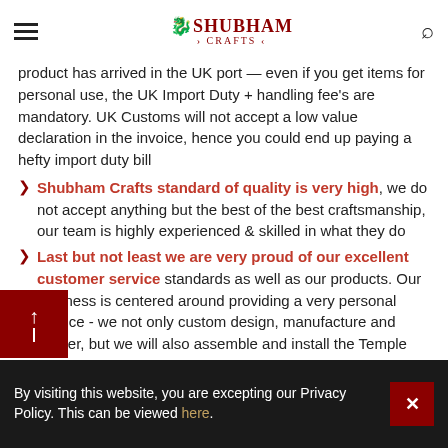Shubham Crafts [logo] [hamburger menu] [search icon]
product has arrived in the UK port — even if you get items for personal use, the UK Import Duty + handling fee's are mandatory. UK Customs will not accept a low value declaration in the invoice, hence you could end up paying a hefty import duty bill
Shubham Crafts standard of quality is very high, we do not accept anything but the best of the best craftsmanship, our team is highly experienced & skilled in what they do
Last but not least we are very proud of our excellent customer service standards as well as our products. Our business is centered around providing a very personal service - we not only custom design, manufacture and deliver, but we will also assemble and install the Temple fitted with LED light in your home
By visiting this website, you are excepting our Privacy Policy. This can be viewed here.